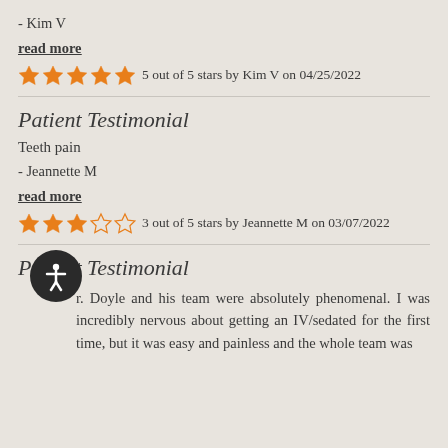- Kim V
read more
5 out of 5 stars by Kim V on 04/25/2022
Patient Testimonial
Teeth pain
- Jeannette M
read more
3 out of 5 stars by Jeannette M on 03/07/2022
Patient Testimonial
Dr. Doyle and his team were absolutely phenomenal. I was incredibly nervous about getting an IV/sedated for the first time, but it was easy and painless and the whole team was